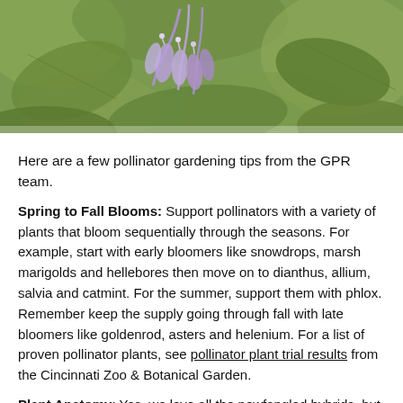[Figure (photo): Close-up photograph of purple/lavender plant flowers with green leaves in soft focus background]
Here are a few pollinator gardening tips from the GPR team.
Spring to Fall Blooms: Support pollinators with a variety of plants that bloom sequentially through the seasons. For example, start with early bloomers like snowdrops, marsh marigolds and hellebores then move on to dianthus, allium, salvia and catmint. For the summer, support them with phlox. Remember keep the supply going through fall with late bloomers like goldenrod, asters and helenium. For a list of proven pollinator plants, see pollinator plant trial results from the Cincinnati Zoo & Botanical Garden.
Plant Anatomy: Yes, we love all the newfangled hybrids, but be aware some features like doubled flowers and pollen-less varieties are not as attractive or beneficial to pollinators.